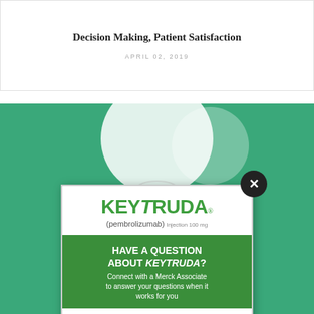Decision Making, Patient Satisfaction
APRIL 02, 2019
[Figure (illustration): Green background section with light bulb illustration and a Keytruda (pembrolizumab) popup advertisement modal. The modal has the Keytruda logo at top, a green section reading 'HAVE A QUESTION ABOUT KEYTRUDA? Connect with a Merck Associate to answer your questions when it works for you', and an 'Ask Merck' button with Merck logo at bottom. A dark close (X) button appears in the top-right corner of the modal.]